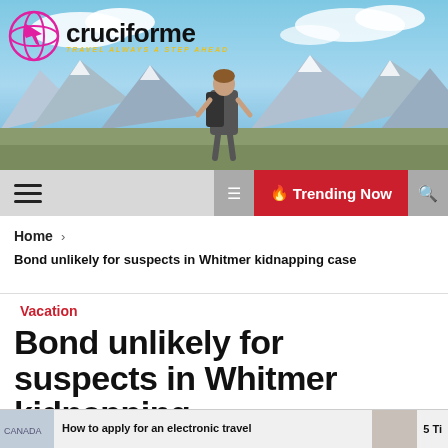[Figure (photo): Travel website hero banner with a person with a backpack looking at mountains under a blue sky]
cruciforme — TRAVEL ALWAYS A STEP AHEAD
Trending Now
Home ›
Bond unlikely for suspects in Whitmer kidnapping case
Vacation
Bond unlikely for suspects in Whitmer kidnapping case
How to apply for an electronic travel
5 Ti